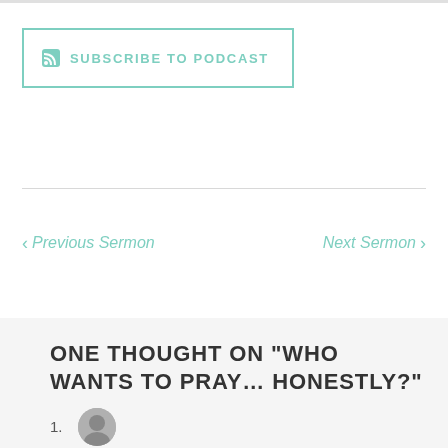SUBSCRIBE TO PODCAST
< Previous Sermon
Next Sermon >
ONE THOUGHT ON “WHO WANTS TO PRAY… HONESTLY?”
1.